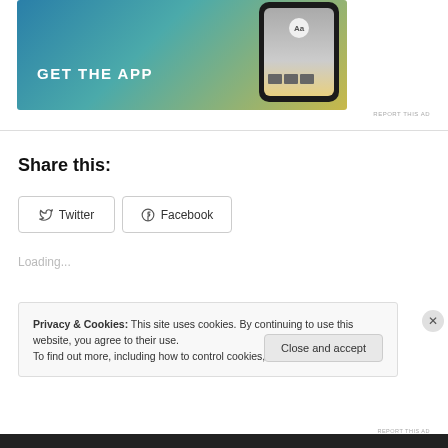[Figure (screenshot): App advertisement banner with 'GET THE APP' text and phone graphic on blue-gold gradient background]
REPORT THIS AD
Share this:
Twitter
Facebook
Loading...
Privacy & Cookies: This site uses cookies. By continuing to use this website, you agree to their use.
To find out more, including how to control cookies, see here: Cookie Policy
Close and accept